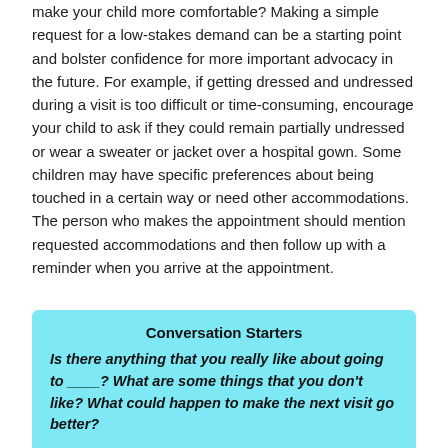make your child more comfortable? Making a simple request for a low-stakes demand can be a starting point and bolster confidence for more important advocacy in the future. For example, if getting dressed and undressed during a visit is too difficult or time-consuming, encourage your child to ask if they could remain partially undressed or wear a sweater or jacket over a hospital gown. Some children may have specific preferences about being touched in a certain way or need other accommodations. The person who makes the appointment should mention requested accommodations and then follow up with a reminder when you arrive at the appointment.
Conversation Starters
Is there anything that you really like about going to ____? What are some things that you don't like? What could happen to make the next visit go better?